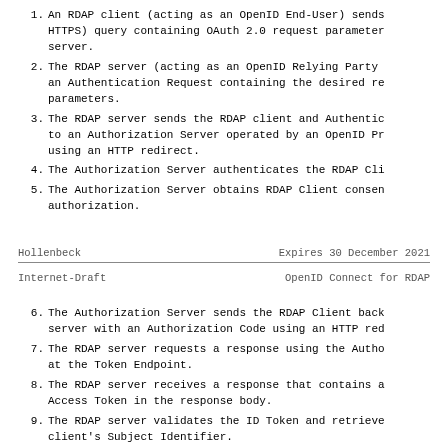1. An RDAP client (acting as an OpenID End-User) sends (HTTPS) query containing OAuth 2.0 request parameters server.
2. The RDAP server (acting as an OpenID Relying Party an Authentication Request containing the desired re parameters.
3. The RDAP server sends the RDAP client and Authentic to an Authorization Server operated by an OpenID Pr using an HTTP redirect.
4. The Authorization Server authenticates the RDAP Cli
5. The Authorization Server obtains RDAP Client consen authorization.
Hollenbeck                     Expires 30 December 2021
Internet-Draft              OpenID Connect for RDAP
6. The Authorization Server sends the RDAP Client back server with an Authorization Code using an HTTP red
7. The RDAP server requests a response using the Autho at the Token Endpoint.
8. The RDAP server receives a response that contains a Access Token in the response body.
9. The RDAP server validates the ID Token and retrieve client's Subject Identifier.